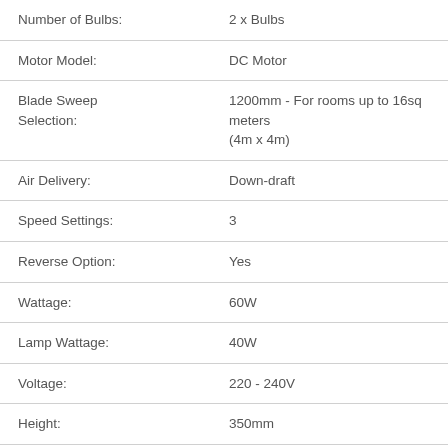| Attribute | Value |
| --- | --- |
| Number of Bulbs: | 2 x Bulbs |
| Motor Model: | DC Motor |
| Blade Sweep Selection: | 1200mm - For rooms up to 16sq meters (4m x 4m) |
| Air Delivery: | Down-draft |
| Speed Settings: | 3 |
| Reverse Option: | Yes |
| Wattage: | 60W |
| Lamp Wattage: | 40W |
| Voltage: | 220 - 240V |
| Height: | 350mm |
| Diameter: | 1200mm |
| Downrod length: | 230mm |